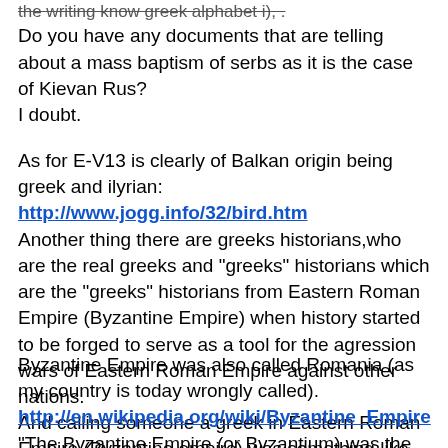the writing know greek alphabet i), .
Do you have any documents that are telling about a mass baptism of serbs as it is the case of Kievan Rus?
I doubt.
As for E-V13 is clearly of Balkan origin being greek and ilyrian:
http://www.jogg.info/32/bird.htm
Another thing there are greeks historians,who are the real greeks and "greeks" historians which are the "greeks" historians from Eastern Roman Empire (Byzantine Empire) when history started to be forged to serve as a tool for the agression wars of Eastern Roman Empire against other nations.
And calling someone a greek in Eastern Roman Empire (Byzantine empire) was something like an insult,being equivalent with a dangerous heretic or something like that. The Byzatine Empire citisens were not calling themselves anymore greeks but (rofl) romanoi or something like that .
Byzantine Empire was also called Romania (as my country is today wrongly called).
http://en.wikipedia.org/wiki/Byzantine_Empire
"The Byzantine Empire (or Byzantium) was the Eastern Roman Empire during the periods of Late Antiquity and the Middle Ages, centered on the capital of Constantinople.